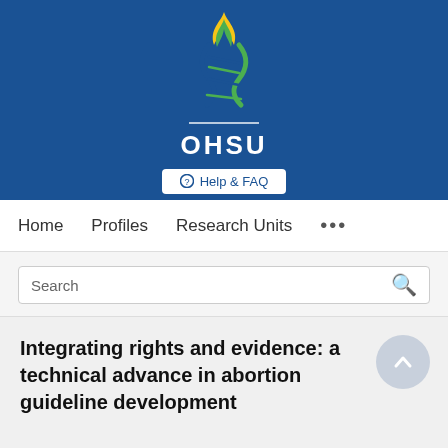[Figure (logo): OHSU (Oregon Health & Science University) logo with flame and DNA helix design in blue, green, and yellow/gold colors on dark blue background, with OHSU text in white]
Help & FAQ
Home   Profiles   Research Units   ...
Search
Integrating rights and evidence: a technical advance in abortion guideline development